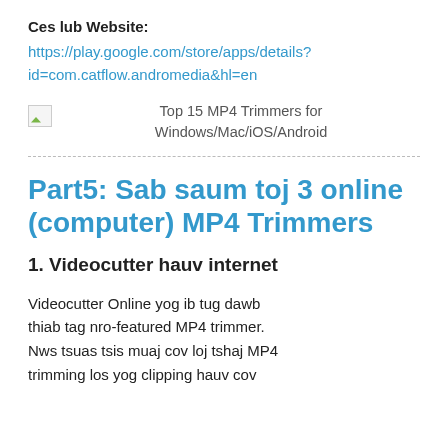Ces lub Website:
https://play.google.com/store/apps/details?id=com.catflow.andromedia&hl=en
[Figure (illustration): Broken image placeholder with alt text: Top 15 MP4 Trimmers for Windows/Mac/iOS/Android]
Part5: Sab saum toj 3 online (computer) MP4 Trimmers
1. Videocutter hauv internet
Videocutter Online yog ib tug dawb thiab tag nro-featured MP4 trimmer. Nws tsuas tsis muaj cov loj tshaj MP4 trimming los yog clipping hauv cov